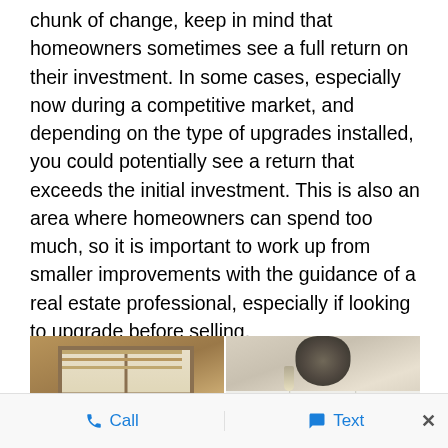chunk of change, keep in mind that homeowners sometimes see a full return on their investment. In some cases, especially now during a competitive market, and depending on the type of upgrades installed, you could potentially see a return that exceeds the initial investment. This is also an area where homeowners can spend too much, so it is important to work up from smaller improvements with the guidance of a real estate professional, especially if looking to upgrade before selling.
[Figure (photo): Side-by-side before and after photos of a kitchen renovation. Left photo shows an older kitchen with brown wood cabinets and a window with blinds. Right photo shows a renovated kitchen with white cabinets, pendant lighting, a chandelier/light fixture, and updated finishes.]
Call   Text   ×